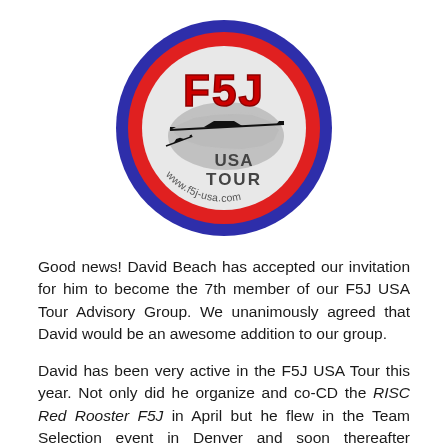[Figure (logo): F5J USA Tour circular logo with blue border, red ring, white interior, large red F5J text, glider silhouette over USA map, text 'USA TOUR' and 'www.f5j-usa.com']
Good news! David Beach has accepted our invitation for him to become the 7th member of our F5J USA Tour Advisory Group. We unanimously agreed that David would be an awesome addition to our group.
David has been very active in the F5J USA Tour this year. Not only did he organize and co-CD the RISC Red Rooster F5J in April but he flew in the Team Selection event in Denver and soon thereafter accepted the role of Team